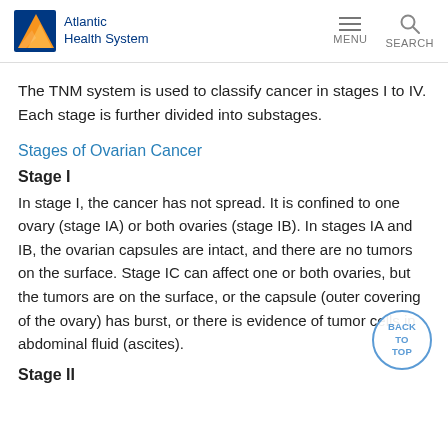Atlantic Health System | MENU | SEARCH
The TNM system is used to classify cancer in stages I to IV. Each stage is further divided into substages.
Stages of Ovarian Cancer
Stage I
In stage I, the cancer has not spread. It is confined to one ovary (stage IA) or both ovaries (stage IB). In stages IA and IB, the ovarian capsules are intact, and there are no tumors on the surface. Stage IC can affect one or both ovaries, but the tumors are on the surface, or the capsule (outer covering of the ovary) has burst, or there is evidence of tumor cells in abdominal fluid (ascites).
Stage II